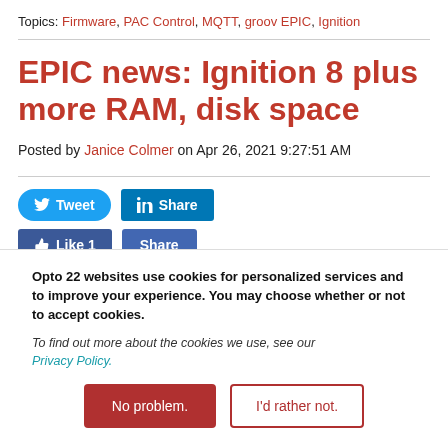Topics: Firmware, PAC Control, MQTT, groov EPIC, Ignition
EPIC news: Ignition 8 plus more RAM, disk space
Posted by Janice Colmer on Apr 26, 2021 9:27:51 AM
[Figure (other): Social share buttons: Tweet (Twitter), Share (LinkedIn), Like 1 (Facebook), Share (Facebook)]
Opto 22 websites use cookies for personalized services and to improve your experience. You may choose whether or not to accept cookies.
To find out more about the cookies we use, see our Privacy Policy.
No problem.
I'd rather not.